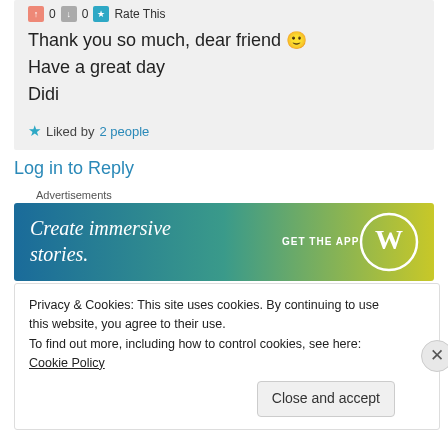0 0 Rate This
Thank you so much, dear friend 🙂
Have a great day
Didi
★ Liked by 2 people
Log in to Reply
Advertisements
[Figure (other): WordPress advertisement banner: Create immersive stories. GET THE APP with WordPress logo]
REPORT THIS AD
Privacy & Cookies: This site uses cookies. By continuing to use this website, you agree to their use.
To find out more, including how to control cookies, see here: Cookie Policy
Close and accept